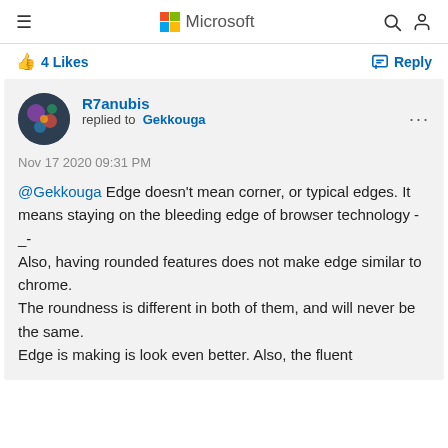Microsoft
4 Likes   Reply
R7anubis replied to Gekkouga
Nov 17 2020 09:31 PM
@Gekkouga Edge doesn't mean corner, or typical edges. It means staying on the bleeding edge of browser technology -_-
Also, having rounded features does not make edge similar to chrome.
The roundness is different in both of them, and will never be the same.
Edge is making is look even better. Also, the fluent